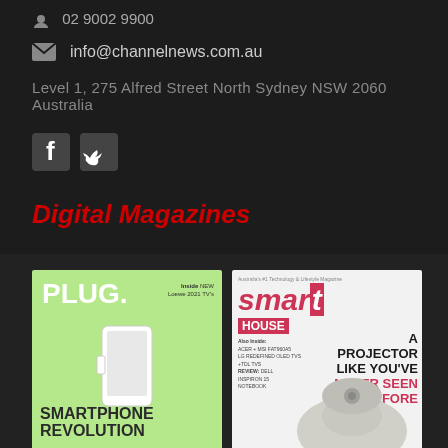02 9002 9900
info@channelnews.com.au
Level 1, 275 Alfred Street North Sydney NSW 2060 Australia
[Figure (illustration): Facebook and Twitter social media icons in white on dark background]
Digital Magazines
[Figure (photo): Two digital magazine covers: PLUG magazine with smartphone revolution theme on green background, and Smart House magazine with a projector cover story]